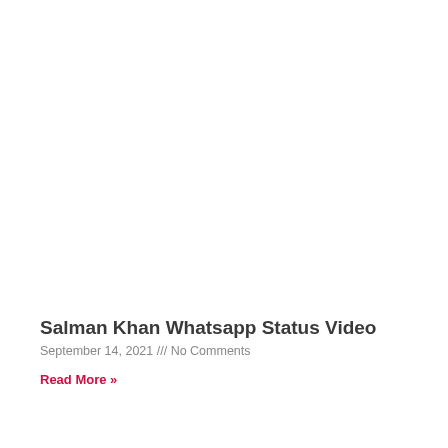Salman Khan Whatsapp Status Video
September 14, 2021 /// No Comments
Read More »